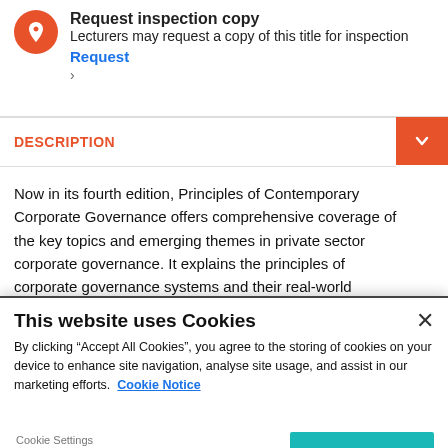Request inspection copy
Lecturers may request a copy of this title for inspection
Request
DESCRIPTION
Now in its fourth edition, Principles of Contemporary Corporate Governance offers comprehensive coverage of the key topics and emerging themes in private sector corporate governance. It explains the principles of corporate governance systems and their real-world application in an authoritative and engaging manner. This fully revised and updated text has four parts: basic concepts, board structures and
This website uses Cookies
By clicking “Accept All Cookies”, you agree to the storing of cookies on your device to enhance site navigation, analyse site usage, and assist in our marketing efforts. Cookie Notice